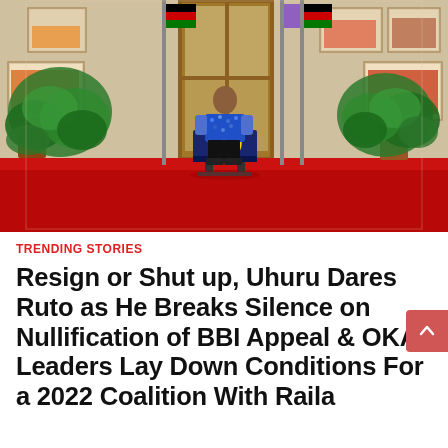[Figure (photo): A man in a blue patterned shirt stands at a navy blue presidential podium with a gold seal, flanked by Kenyan and purple flags, with large green potted plants on either side, against a wood-paneled background with framed photos on the walls. Red carpet on the floor.]
TRENDING STORIES
Resign or Shut up, Uhuru Dares Ruto as He Breaks Silence on Nullification of BBI Appeal & OKA Leaders Lay Down Conditions For a 2022 Coalition With Raila